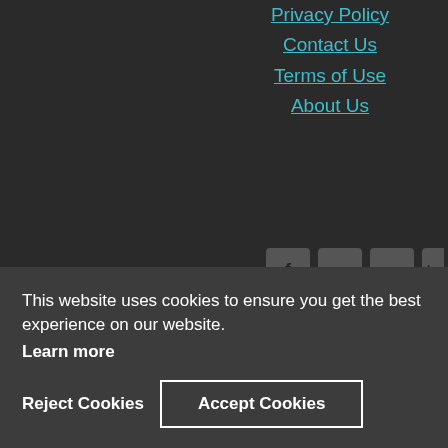Privacy Policy
Contact Us
Terms of Use
About Us
[Figure (illustration): Social media icons: Facebook, LinkedIn, LinkedIn, Twitter]
Membership
RM
icates
rning
work
urces
tion
This website uses cookies to ensure you get the best experience on our website.
Learn more
Reject Cookies
Accept Cookies